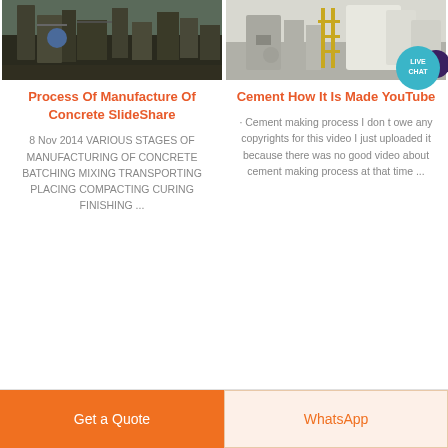[Figure (photo): Industrial/manufacturing facility with large equipment, pipes and machinery, dark industrial setting]
Process Of Manufacture Of Concrete SlideShare
8 Nov 2014 VARIOUS STAGES OF MANUFACTURING OF CONCRETE BATCHING MIXING TRANSPORTING PLACING COMPACTING CURING FINISHING ...
[Figure (photo): Industrial cement manufacturing facility with large white equipment, yellow scaffolding/framework and storage tanks]
Cement How It Is Made YouTube
· Cement making process I don t owe any copyrights for this video I just uploaded it because there was no good video about cement making process at that time ...
[Figure (other): Live Chat bubble/button overlay in teal/dark blue]
Get a Quote
WhatsApp